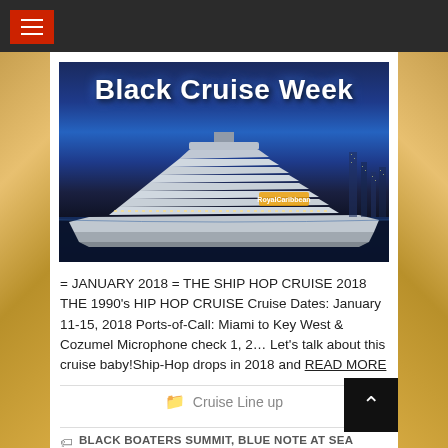[Figure (photo): Black Cruise Week promotional image featuring a large Royal Caribbean cruise ship at night with city lights in background. Text overlay reads 'Black Cruise Week' in bold white letters.]
= JANUARY 2018 = THE SHIP HOP CRUISE 2018 THE 1990’s HIP HOP CRUISE Cruise Dates: January 11-15, 2018 Ports-of-Call: Miami to Key West & Cozumel Microphone check 1, 2… Let’s talk about this cruise baby!Ship-Hop drops in 2018 and READ MORE
Cruise Line up
BLACK BOATERS SUMMIT, BLUE NOTE AT SEA CRUSE, CAPITAL JAZZ SUPER CRUISE,